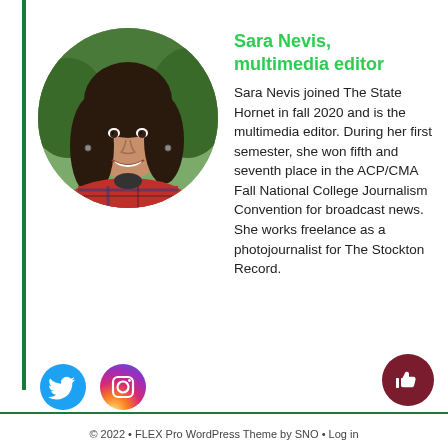[Figure (photo): Circular portrait photo of Sara Nevis, a young woman with long dark hair, wearing a red and blue plaid shirt, smiling, with trees in the background.]
Sara Nevis, multimedia editor
Sara Nevis joined The State Hornet in fall 2020 and is the multimedia editor. During her first semester, she won fifth and seventh place in the ACP/CMA Fall National College Journalism Convention for broadcast news. She works freelance as a photojournalist for The Stockton Record.
[Figure (logo): Twitter bird icon (blue circle with white bird) and Instagram icon (pink/magenta circle with camera outline)]
© 2022 • FLEX Pro WordPress Theme by SNO • Log in